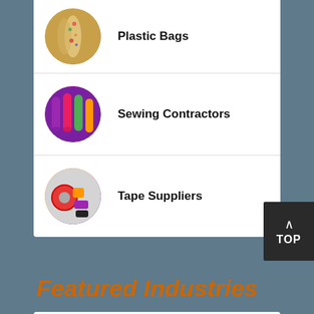Plastic Bags
Sewing Contractors
Tape Suppliers
Featured Industries
Castings & Forgings
Bulk Material Handling